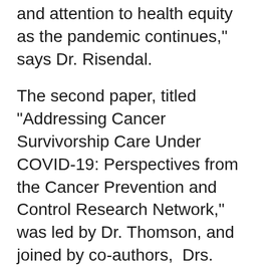compelling rationale for ongoing resources and attention to health equity as the pandemic continues," says Dr. Risendal.
The second paper, titled "Addressing Cancer Survivorship Care Under COVID-19: Perspectives from the Cancer Prevention and Control Research Network," was led by Dr. Thomson, and joined by co-authors, Drs. Overholser, Risendal, Morrato, Hébert, and Wheeler. Though similarly addressing the potential for health disparities associated with